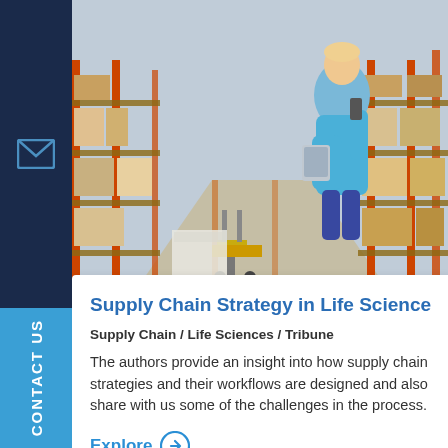[Figure (photo): Warehouse interior with a woman in a blue shirt holding a tablet and talking on the phone, with shelving racks and a pallet jack visible]
Supply Chain Strategy in Life Science
Supply Chain / Life Sciences / Tribune
The authors provide an insight into how supply chain strategies and their workflows are designed and also share with us some of the challenges in the process.
Explore